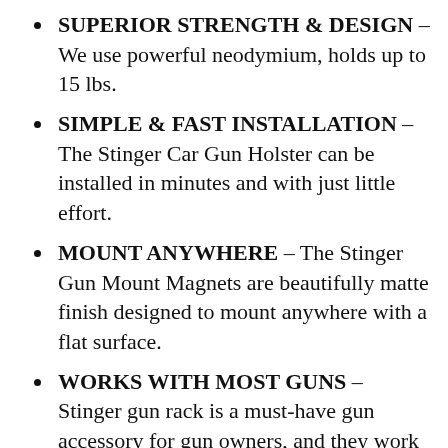SUPERIOR STRENGTH & DESIGN – We use powerful neodymium, holds up to 15 lbs.
SIMPLE & FAST INSTALLATION – The Stinger Car Gun Holster can be installed in minutes and with just little effort.
MOUNT ANYWHERE – The Stinger Gun Mount Magnets are beautifully matte finish designed to mount anywhere with a flat surface.
WORKS WITH MOST GUNS – Stinger gun rack is a must-have gun accessory for gun owners, and they work with most gun manufacturers including Glock, Smith & Wesson, Browning, Walther, Taurus, Beretta, Sig Sauer, Colt, Ruger, Kel Tec, Heckler & Koch, Remington, Winchester, Mossberg, Rossi, FN Herstal, and many